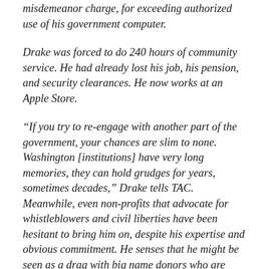misdemeanor charge, for exceeding authorized use of his government computer.
Drake was forced to do 240 hours of community service. He had already lost his job, his pension, and security clearances. He now works at an Apple Store.
“If you try to re-engage with another part of the government, your chances are slim to none. Washington [institutions] have very long memories, they can hold grudges for years, sometimes decades,” Drake tells TAC. Meanwhile, even non-profits that advocate for whistleblowers and civil liberties have been hesitant to bring him on, despite his expertise and obvious commitment. He senses that he might be seen as a drag with big name donors who are notoriously skittish when it comes to